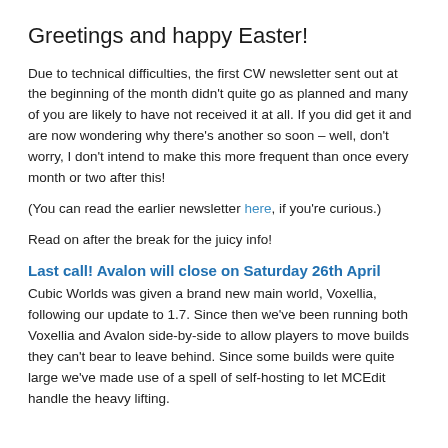Greetings and happy Easter!
Due to technical difficulties, the first CW newsletter sent out at the beginning of the month didn't quite go as planned and many of you are likely to have not received it at all. If you did get it and are now wondering why there's another so soon – well, don't worry, I don't intend to make this more frequent than once every month or two after this!
(You can read the earlier newsletter here, if you're curious.)
Read on after the break for the juicy info!
Last call! Avalon will close on Saturday 26th April
Cubic Worlds was given a brand new main world, Voxellia, following our update to 1.7. Since then we've been running both Voxellia and Avalon side-by-side to allow players to move builds they can't bear to leave behind. Since some builds were quite large we've made use of a spell of self-hosting to let MCEdit handle the heavy lifting.